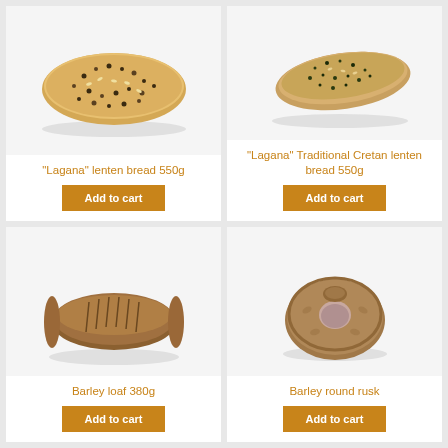[Figure (photo): Flat oval bread loaf covered in sesame and poppy seeds (Lagana lenten bread 550g)]
"Lagana" lenten bread 550g
Add to cart
[Figure (photo): Flat oval Cretan-style bread covered in herbs and seeds (Lagana Traditional Cretan lenten bread 550g)]
"Lagana" Traditional Cretan lenten bread 550g
Add to cart
[Figure (photo): Elongated brown barley loaf with scored top (Barley loaf 380g)]
Barley loaf 380g
Add to cart
[Figure (photo): Round ring-shaped barley rusk (Barley round rusk)]
Barley round rusk
Add to cart